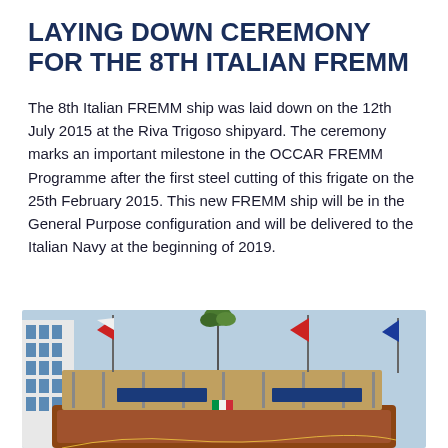LAYING DOWN CEREMONY FOR THE 8TH ITALIAN FREMM
The 8th Italian FREMM ship was laid down on the 12th July 2015 at the Riva Trigoso shipyard. The ceremony marks an important milestone in the OCCAR FREMM Programme after the first steel cutting of this frigate on the 25th February 2015. This new FREMM ship will be in the General Purpose configuration and will be delivered to the Italian Navy at the beginning of 2019.
[Figure (photo): Photo of ship hull under construction at shipyard with scaffolding and flags (Italian, French, and others) raised on masts. A leafy tree branch is visible at the top of the structure. A building with blue windows is visible on the left.]